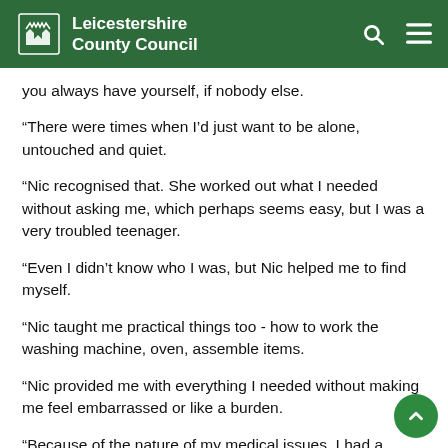Leicestershire County Council
you always have yourself, if nobody else.
“There were times when I’d just want to be alone, untouched and quiet.
“Nic recognised that. She worked out what I needed without asking me, which perhaps seems easy, but I was a very troubled teenager.
“Even I didn’t know who I was, but Nic helped me to find myself.
“Nic taught me practical things too - how to work the washing machine, oven, assemble items.
“Nic provided me with everything I needed without making me feel embarrassed or like a burden.
“Because of the nature of my medical issues, I had a